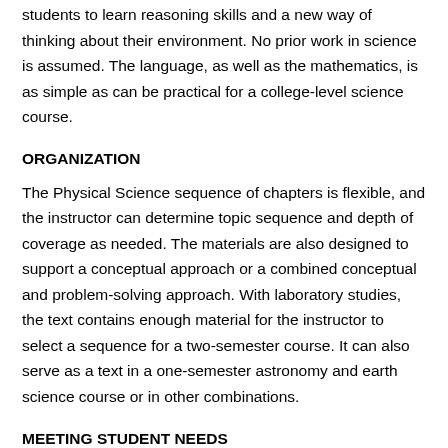students to learn reasoning skills and a new way of thinking about their environment. No prior work in science is assumed. The language, as well as the mathematics, is as simple as can be practical for a college-level science course.
ORGANIZATION
The Physical Science sequence of chapters is flexible, and the instructor can determine topic sequence and depth of coverage as needed. The materials are also designed to support a conceptual approach or a combined conceptual and problem-solving approach. With laboratory studies, the text contains enough material for the instructor to select a sequence for a two-semester course. It can also serve as a text in a one-semester astronomy and earth science course or in other combinations.
MEETING STUDENT NEEDS
Physical Science is based on two fundamental assumptions arrived